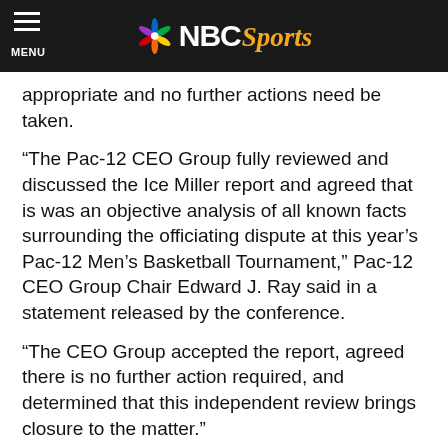NBC Sports
appropriate and no further actions need be taken.
“The Pac-12 CEO Group fully reviewed and discussed the Ice Miller report and agreed that is was an objective analysis of all known facts surrounding the officiating dispute at this year’s Pac-12 Men’s Basketball Tournament,” Pac-12 CEO Group Chair Edward J. Ray said in a statement released by the conference.
“The CEO Group accepted the report, agreed there is no further action required, and determined that this independent review brings closure to the matter.”
Ice Miller concluded the following:
Rush’s “bounty” statements were neither offered nor taken literally;
Rush’s pregame statements affected the officiating